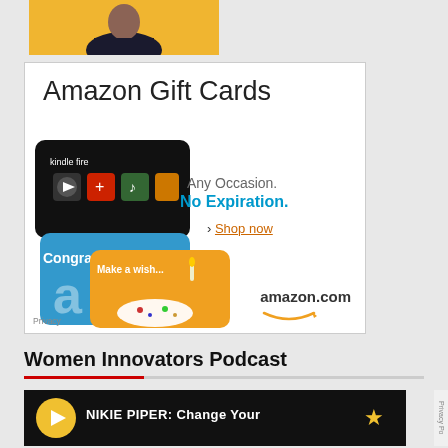[Figure (photo): Partial view of a person on a yellow background, cropped at the top of the page]
[Figure (infographic): Amazon Gift Cards advertisement. Shows Amazon gift cards (Kindle Fire card, Congratulations card, Make a wish birthday card). Text: 'Amazon Gift Cards', 'Any Occasion.', 'No Expiration.', '> Shop now', 'amazon.com'. Privacy label at bottom left.]
Women Innovators Podcast
[Figure (screenshot): Podcast player strip with dark background. Play button (yellow circle with white triangle). Text: 'NIKIE PIPER: Change Your'. Star icon at right. 'Privacy Po' text vertically on far right.]